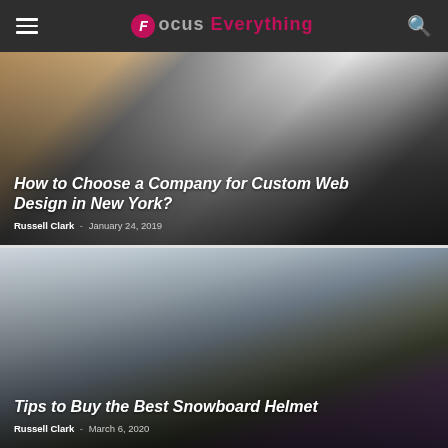Focus Everything
[Figure (photo): Person typing on a laptop, keyboard and screen visible from above on a wooden desk]
How to Choose a Company for Custom Web Design in New York?
Russell Clark - January 24, 2019
[Figure (photo): Snowboarder wearing a black helmet with red pattern and ski goggles, snowy mountain landscape in background]
Tips to Buy the Best Snowboard Helmet
Russell Clark - March 6, 2020